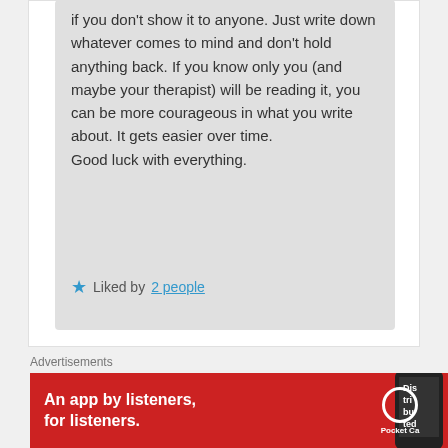if you don't show it to anyone. Just write down whatever comes to mind and don't hold anything back. If you know only you (and maybe your therapist) will be reading it, you can be more courageous in what you write about. It gets easier over time.
Good luck with everything.
★ Liked by 2 people
Advertisements
[Figure (infographic): Red advertisement banner reading 'An app by listeners, for listeners.' with a phone image and Pocket Casts logo on the right.]